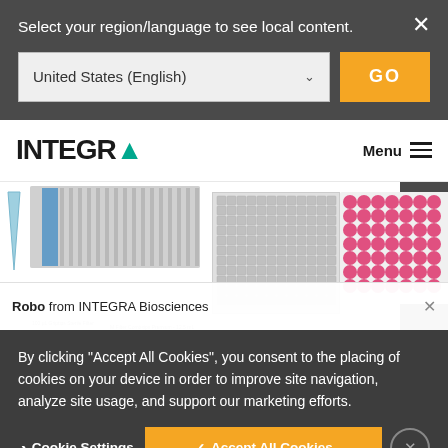Select your region/language to see local content.
United States (English)
GO
[Figure (screenshot): INTEGRA logo with teal A, Menu hamburger icon, and product images showing pipette tips and multi-well plates]
Robo from INTEGRA Biosciences
By clicking "Accept All Cookies", you consent to the placing of cookies on your device in order to improve site navigation, analyze site usage, and support our marketing efforts.
Cookie Settings
✓ Accept All Cookies